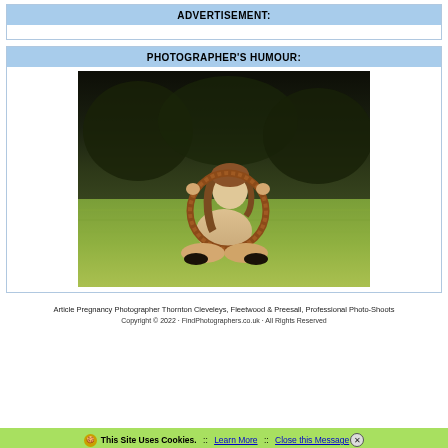ADVERTISEMENT:
PHOTOGRAPHER'S HUMOUR:
[Figure (photo): A young woman sitting cross-legged on grass, holding a circular wicker/braided frame up in front of her face in an outdoor setting with dark trees in background.]
Article Pregnancy Photographer Thornton Cleveleys, Fleetwood & Preesall, Professional Photo-Shoots
Copyright © 2022 · FindPhotographers.co.uk · All Rights Reserved
This Site Uses Cookies. :: Learn More :: Close this Message